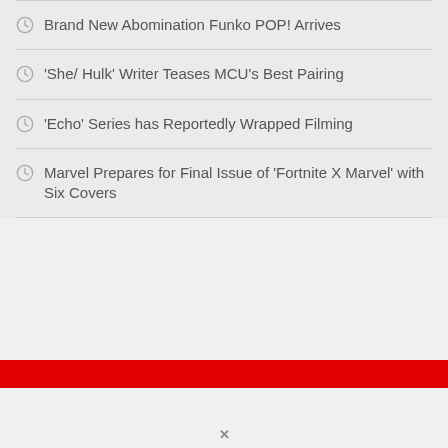Brand New Abomination Funko POP! Arrives
'She/ Hulk' Writer Teases MCU's Best Pairing
'Echo' Series has Reportedly Wrapped Filming
Marvel Prepares for Final Issue of 'Fortnite X Marvel' with Six Covers